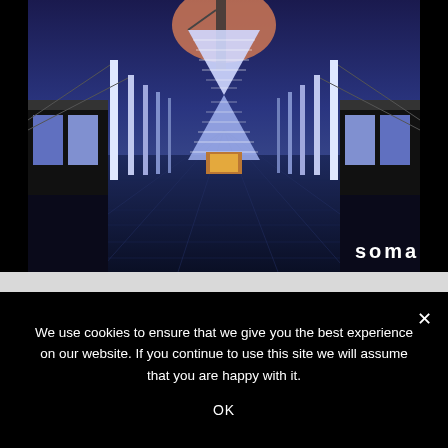[Figure (illustration): 3D rendered architectural/futuristic scene showing a long corridor with tall white pillars on both sides, a dark blue twilight sky, and a large hourglass-shaped glowing structure in the center background. The floor has wooden plank texture. Bottom-right corner has 'soma' text logo in white bold letters.]
We use cookies to ensure that we give you the best experience on our website. If you continue to use this site we will assume that you are happy with it.
OK